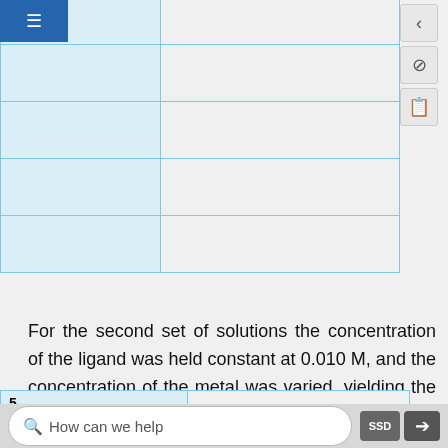|  |  |
| --- | --- |
|  |  |
|  |  |
|  |  |
|  |  |
|  |  |
For the second set of solutions the concentration of the ligand was held constant at 0.010 M, and the concentration of the metal was varied, yielding the following absorbances.
| 5 |  |
| --- | --- |